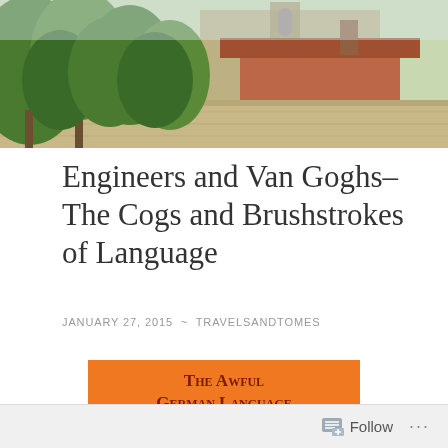[Figure (photo): Outdoor photo of a historic building with red brick walls and gothic/medieval architecture, surrounded by green trees, with a stone wall in the foreground.]
Engineers and Van Goghs–The Cogs and Brushstrokes of Language
JANUARY 27, 2015  ~  TRAVELSANDTOMES
[Figure (photo): Book cover of 'The Awful German Language' with orange background, dark red serif title text in small caps, and a sepia-toned vintage illustration below showing figures in an interior scene.]
Follow